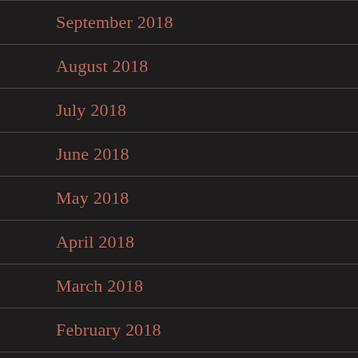September 2018
August 2018
July 2018
June 2018
May 2018
April 2018
March 2018
February 2018